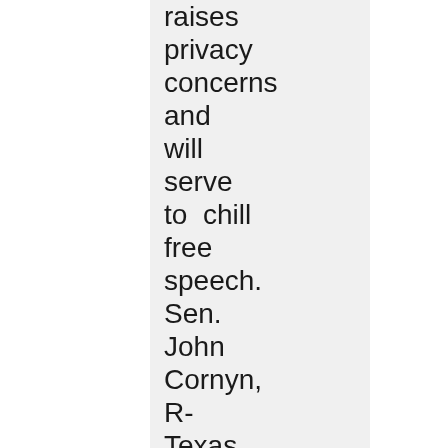raises privacy concerns and will serve to chill free speech. Sen. John Cornyn, R-Texas, is sending a letter to the White House